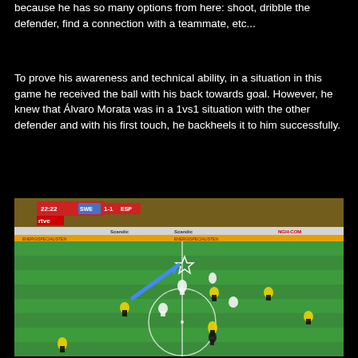because he has so many options from here: shoot, dribble the defender, find a connection with a teammate, etc...
To prove his awareness and technical ability, in a situation in this game he received the ball with his back towards goal. However, he knew that Álvaro Morata was in a 1vs1 situation with the other defender and with his first touch, he backheels it to him successfully.
[Figure (screenshot): Football match screenshot showing SWE 1-1 ESP at 22:22, aerial/broadcast view of a soccer field with players in yellow/black and white kits, a blue arrow annotation pointing to a player with a star marker indicating the ball action, stadium with yellow-clad fans visible in background, rtve and Scandic advertising boards visible.]